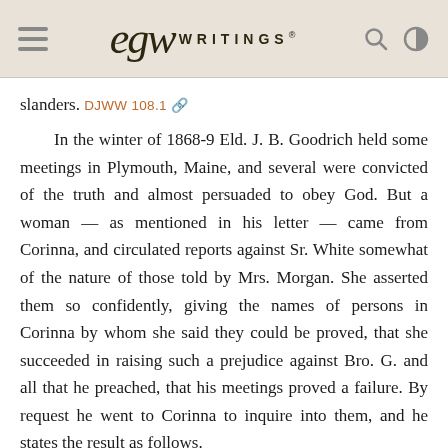EGW WRITINGS®
slanders. DJWW 108.1
In the winter of 1868-9 Eld. J. B. Goodrich held some meetings in Plymouth, Maine, and several were convicted of the truth and almost persuaded to obey God. But a woman — as mentioned in his letter — came from Corinna, and circulated reports against Sr. White somewhat of the nature of those told by Mrs. Morgan. She asserted them so confidently, giving the names of persons in Corinna by whom she said they could be proved, that she succeeded in raising such a prejudice against Bro. G. and all that he preached, that his meetings proved a failure. By request he went to Corinna to inquire into them, and he states the result as follows.